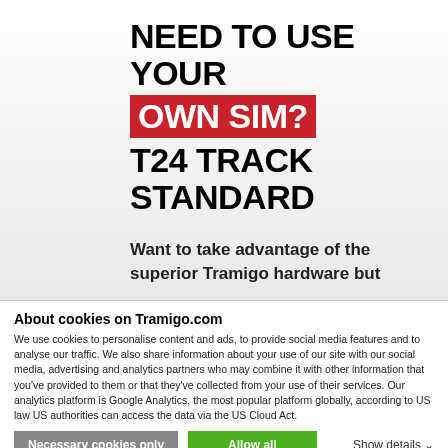NEED TO USE YOUR OWN SIM? T24 TRACK STANDARD
Want to take advantage of the superior Tramigo hardware but
About cookies on Tramigo.com
We use cookies to personalise content and ads, to provide social media features and to analyse our traffic. We also share information about your use of our site with our social media, advertising and analytics partners who may combine it with other information that you've provided to them or that they've collected from your use of their services. Our analytics platform is Google Analytics, the most popular platform globally, according to US law US authorities can access the data via the US Cloud Act.
Necessary cookies only | Allow all | Show details